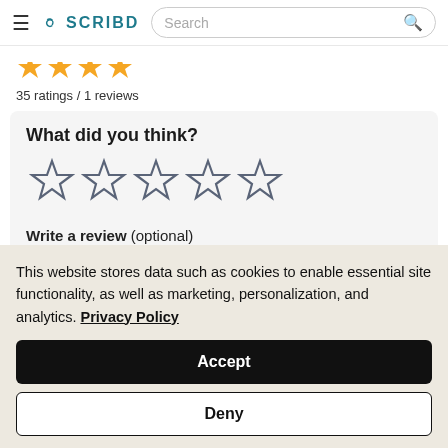SCRIBD — Search
[Figure (other): Partial golden star ratings (cut off at top of page)]
35 ratings / 1 reviews
What did you think?
[Figure (other): Five empty star rating icons]
Write a review (optional)
Tell others what you thought of SimplifyYour Life:
This website stores data such as cookies to enable essential site functionality, as well as marketing, personalization, and analytics. Privacy Policy
Accept
Deny